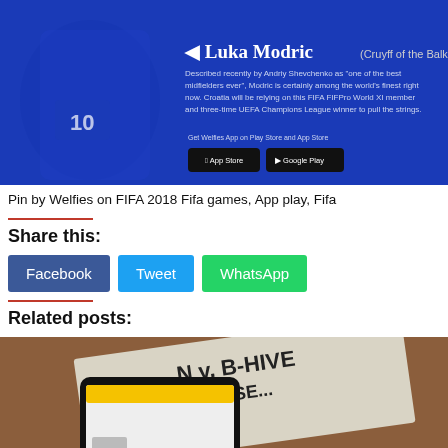[Figure (photo): Luka Modric (Cruyff of the Balkans) - promotional image on blue background with footballer and app store buttons]
Pin by Welfies on FIFA 2018 Fifa games, App play, Fifa
Share this:
Facebook  Tweet  WhatsApp
Related posts:
[Figure (photo): Phone on newspaper showing B-HIVE content, related post image]